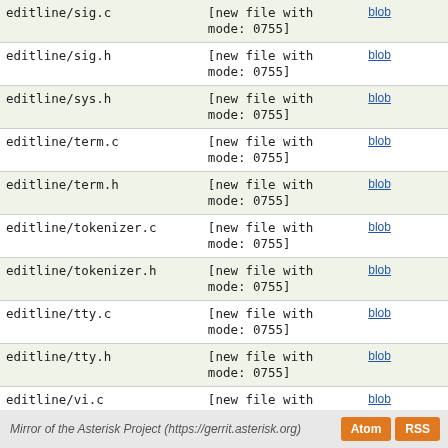| filename | status | links |
| --- | --- | --- |
| editline/sig.c | [new file with mode: 0755] | blob |
| editline/sig.h | [new file with mode: 0755] | blob |
| editline/sys.h | [new file with mode: 0755] | blob |
| editline/term.c | [new file with mode: 0755] | blob |
| editline/term.h | [new file with mode: 0755] | blob |
| editline/tokenizer.c | [new file with mode: 0755] | blob |
| editline/tokenizer.h | [new file with mode: 0755] | blob |
| editline/tty.c | [new file with mode: 0755] | blob |
| editline/tty.h | [new file with mode: 0755] | blob |
| editline/vi.c | [new file with mode: 0755] | blob |
| include/asterisk/cli.h |  | diff | blob | history |
| include/asterisk/io.h |  | diff | blob | history |
| io.c |  | diff | blob | history |
Mirror of the Asterisk Project (https://gerrit.asterisk.org)